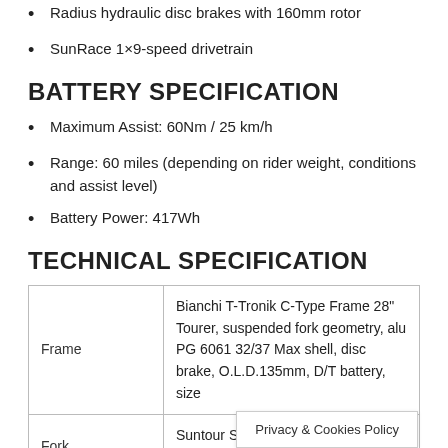Radius hydraulic disc brakes with 160mm rotor
SunRace 1×9-speed drivetrain
BATTERY SPECIFICATION
Maximum Assist: 60Nm / 25 km/h
Range: 60 miles (depending on rider weight, conditions and assist level)
Battery Power: 417Wh
TECHNICAL SPECIFICATION
|  |  |
| --- | --- |
| Frame | Bianchi T-Tronik C-Type Frame 28" Tourer, suspended fork geometry, alu PG 6061 32/37 Max shell, disc brake, O.L.D.135mm, D/T battery, size |
| Fork | Suntour SF15-NEX-E25-DS-700C-63 post mount dis... |